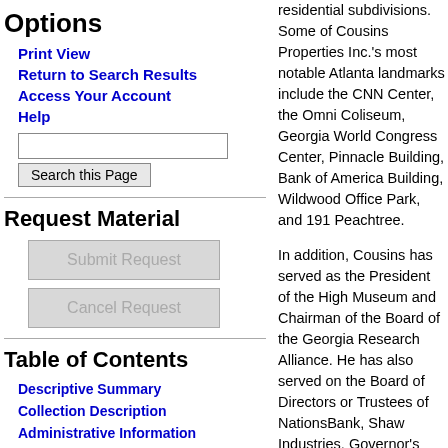Options
Print View
Return to Search Results
Access Your Account
Help
Request Material
Table of Contents
Descriptive Summary
Collection Description
Administrative Information
residential subdivisions. Some of Cousins Properties Inc.'s most notable Atlanta landmarks include the CNN Center, the Omni Coliseum, Georgia World Congress Center, Pinnacle Building, Bank of America Building, Wildwood Office Park, and 191 Peachtree.
In addition, Cousins has served as the President of the High Museum and Chairman of the Board of the Georgia Research Alliance. He has also served on the Board of Directors or Trustees of NationsBank, Shaw Industries, Governor's Economic Development Council, Emory University, Carter Center, Robert W. Woodruff Arts Center, and others. He has been an active member of the North Avenue Presbyterian Church of Atlanta for many